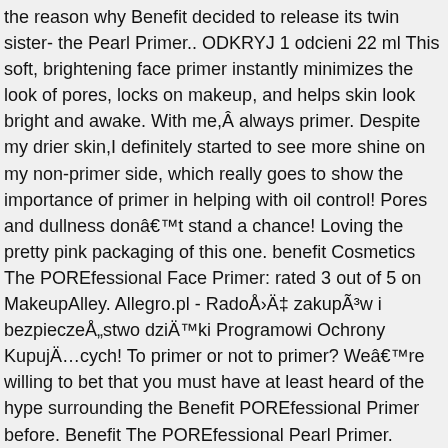the reason why Benefit decided to release its twin sister- the Pearl Primer.. ODKRYJ 1 odcieni 22 ml This soft, brightening face primer instantly minimizes the look of pores, locks on makeup, and helps skin look bright and awake. With me,Â always primer. Despite my drier skin,I definitely started to see more shine on my non-primer side, which really goes to show the importance of primer in helping with oil control! Pores and dullness donâ€™t stand a chance! Loving the pretty pink packaging of this one. benefit Cosmetics The POREfessional Face Primer: rated 3 out of 5 on MakeupAlley. Allegro.pl - RadoÅ›Ä‡ zakupÃ³w i bezpieczeÅ„stwo dziÄ™ki Programowi Ochrony KupujÄ…cych! To primer or not to primer? Weâ€™re willing to bet that you must have at least heard of the hype surrounding the Benefit POREfessional Primer before. Benefit The POREfessional Pearl Primer. Today I am reviewing the Porefessional Pearl Primer from Benefit. You can definitely see an addedÂ brightnessÂ on the primer half of my face as compared to the half without. Read honest and unbiased product reviews from our